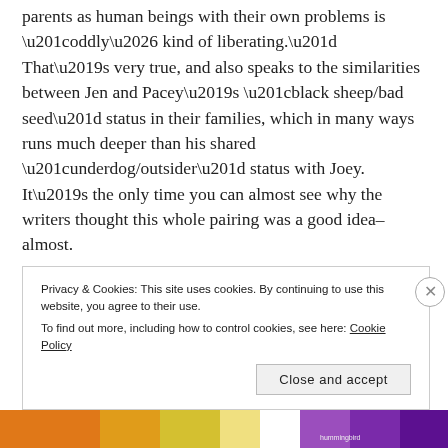parents as human beings with their own problems is “oddly… kind of liberating.” That’s very true, and also speaks to the similarities between Jen and Pacey’s “black sheep/bad seed” status in their families, which in many ways runs much deeper than his shared “underdog/outsider” status with Joey. It’s the only time you can almost see why the writers thought this whole pairing was a good idea–almost.
Most cringeworthy moment:
Grams describes Thanksgiving as “a tradition of people with different beliefs coming together…
Privacy & Cookies: This site uses cookies. By continuing to use this website, you agree to their use.
To find out more, including how to control cookies, see here: Cookie Policy